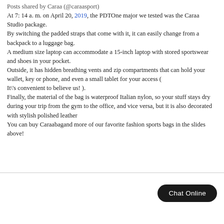Posts shared by Caraa (@caraasport)
At 7: 14 a. m. on April 20, 2019, the PDTOne major we tested was the Caraa Studio package.
By switching the padded straps that come with it, it can easily change from a backpack to a luggage bag.
A medium size laptop can accommodate a 15-inch laptop with stored sportswear and shoes in your pocket.
Outside, it has hidden breathing vents and zip compartments that can hold your wallet, key or phone, and even a small tablet for your access (
It\'s convenient to believe us! ).
Finally, the material of the bag is waterproof Italian nylon, so your stuff stays dry during your trip from the gym to the office, and vice versa, but it is also decorated with stylish polished leather
You can buy Caraabagand more of our favorite fashion sports bags in the slides above!
Chat Online